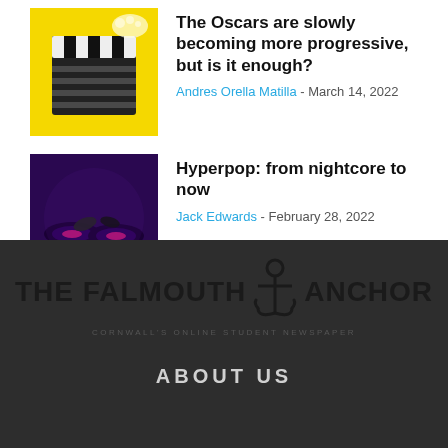[Figure (photo): Movie clapperboard with popcorn on yellow background]
The Oscars are slowly becoming more progressive, but is it enough?
Andres Orella Matilla - March 14, 2022
[Figure (photo): DJ hands on turntables with purple neon lighting]
Hyperpop: from nightcore to now
Jack Edwards - February 28, 2022
THE FALMOUTH ANCHOR — CORNWALL'S ONLINE STUDENT NEWSPAPER — ABOUT US